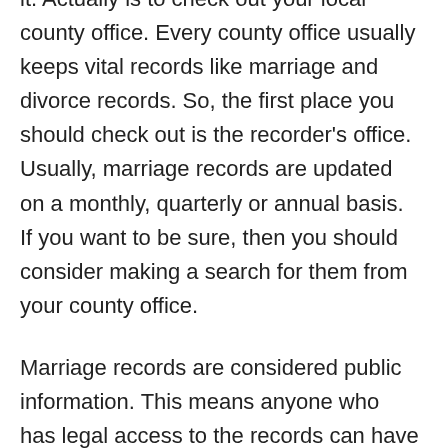it. Actually is to check out your local county office. Every county office usually keeps vital records like marriage and divorce records. So, the first place you should check out is the recorder's office. Usually, marriage records are updated on a monthly, quarterly or annual basis. If you want to be sure, then you should consider making a search for them from your county office.
Marriage records are considered public information. This means anyone who has legal access to the records can have access to them.